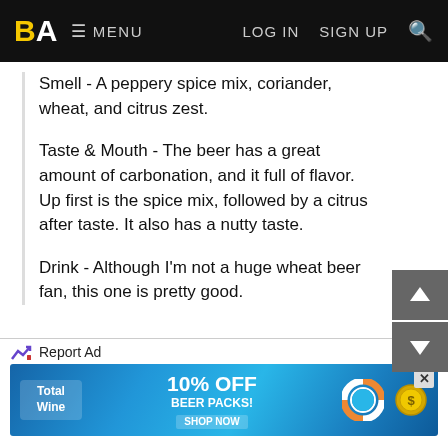BA MENU LOG IN SIGN UP
Smell - A peppery spice mix, coriander, wheat, and citrus zest.
Taste & Mouth - The beer has a great amount of carbonation, and it full of flavor. Up first is the spice mix, followed by a citrus after taste. It also has a nutty taste.
Drink - Although I'm not a huge wheat beer fan, this one is pretty good.
Aug 27, 2010
Reviewed by bobsy from Canada (ON)
2.72/5  rDev -22.5%
look: 4.5  |  smell: 2.5  |  taste: 2  |  feel: 3.5  |  overall: 3.5
The pour sure as hell looks like a hefeweizen, with its